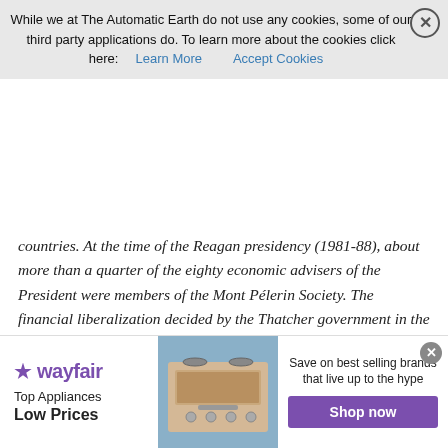While we at The Automatic Earth do not use any cookies, some of our third party applications do. To learn more about the cookies click here: Learn More   Accept Cookies
countries. At the time of the Reagan presidency (1981-88), about more than a quarter of the eighty economic advisers of the President were members of the Mont Pélerin Society. The financial liberalization decided by the Thatcher government in the first half of the 1980s, which has changed the face of the British economy, were developed largely by the Institute of Economic Affairs, a subsidiary of the society founded and directed by two partners, Antony Fisher and Ralph Harris. The captains of industry in France and Germany have always been numerous among the ranks of the Mont PElerin Society, entertaining close relationships with members in the world of politics.
Read more …
[Figure (other): Wayfair advertisement banner: Top Appliances Low Prices, Save on best selling brands that live up to the hype, Shop now button, with image of kitchen appliance/stove]